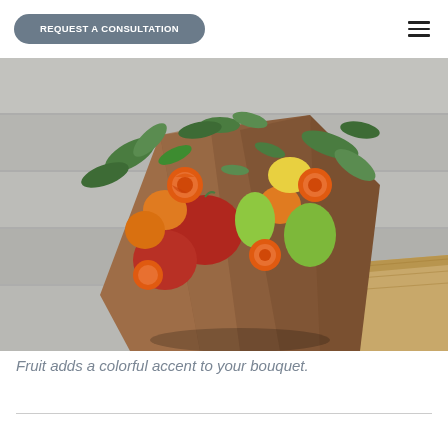REQUEST A CONSULTATION
[Figure (photo): A colorful bouquet of orange roses and mixed fruit (apples, oranges, pears, lemon) wrapped in brown kraft paper, sitting on a wooden surface against a gray wooden background.]
Fruit adds a colorful accent to your bouquet.